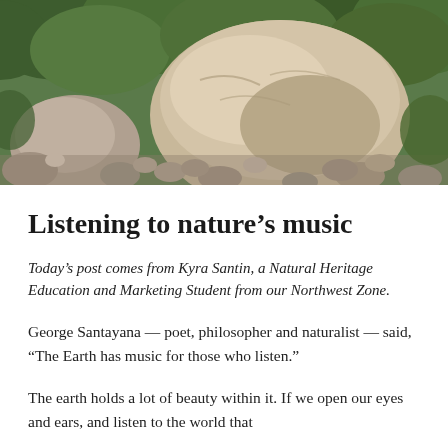[Figure (photo): Outdoor nature scene showing large boulders and rocks with green vegetation and trees in the background, a rocky riverbed or landscape setting]
Listening to nature’s music
Today’s post comes from Kyra Santin, a Natural Heritage Education and Marketing Student from our Northwest Zone.
George Santayana — poet, philosopher and naturalist — said, “The Earth has music for those who listen.”
The earth holds a lot of beauty within it. If we open our eyes and ears, and listen to the world that